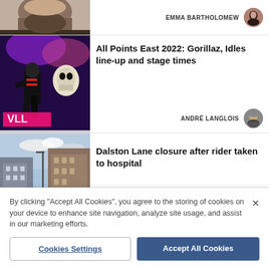[Figure (photo): Partial photo of a bearded person, cropped at top]
EMMA BARTHOLOMEW
[Figure (photo): Author avatar of Emma Bartholomew]
[Figure (photo): Concert photo showing performer on stage with Gorillaz backdrop, purple lighting]
All Points East 2022: Gorillaz, Idles line-up and stage times
ANDRÉ LANGLOIS
[Figure (photo): Author avatar of André Langlois]
[Figure (photo): Street photo of Dalston Lane buildings]
Dalston Lane closure after rider taken to hospital
By clicking "Accept All Cookies", you agree to the storing of cookies on your device to enhance site navigation, analyze site usage, and assist in our marketing efforts.
Cookies Settings
Accept All Cookies